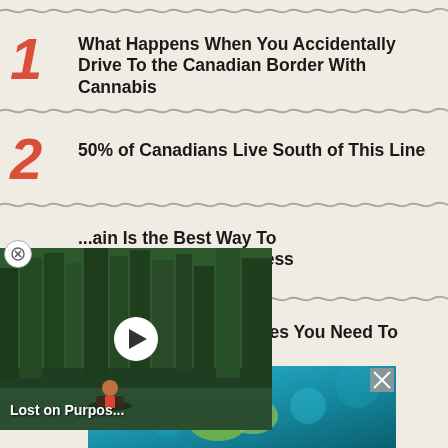1. What Happens When You Accidentally Drive To the Canadian Border With Cannabis
2. 50% of Canadians Live South of This Line
3. [video overlay] ...ain Is the Best Way To ...ada's Winter Wilderness
4. ...derrated UNESCO Sites You Need To Visit
[Figure (photo): Ad banner with underwater/ocean imagery at bottom]